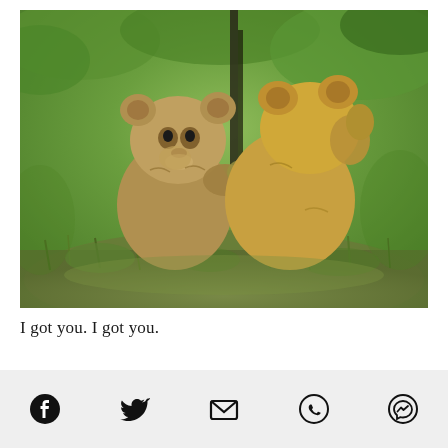[Figure (photo): Two lion cubs hugging each other outdoors in grassy green vegetation. One cub faces the camera while the other has its back turned.]
I got you. I got you.
Social share icons: Facebook, Twitter, Email, WhatsApp, Messenger